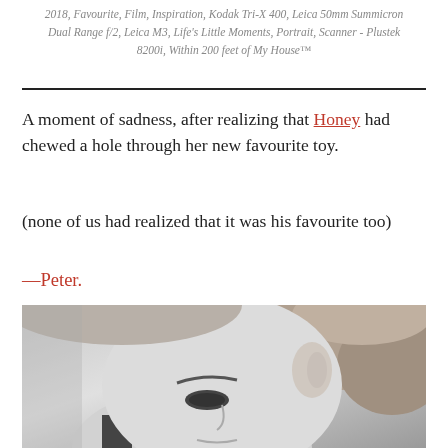2018, Favourite, Film, Inspiration, Kodak Tri-X 400, Leica 50mm Summicron Dual Range f/2, Leica M3, Life's Little Moments, Portrait, Scanner - Plustek 8200i, Within 200 feet of My House™
A moment of sadness, after realizing that Honey had chewed a hole through her new favourite toy.
(none of us had realized that it was his favourite too)
—Peter.
[Figure (photo): Black and white close-up portrait photograph of a young woman with her head tilted, curly hair, showing her ear, eyes closed or downcast, wearing a dark strap top.]